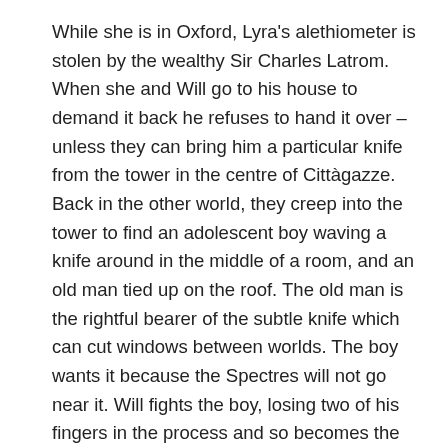While she is in Oxford, Lyra's alethiometer is stolen by the wealthy Sir Charles Latrom. When she and Will go to his house to demand it back he refuses to hand it over – unless they can bring him a particular knife from the tower in the centre of Cittàgazze. Back in the other world, they creep into the tower to find an adolescent boy waving a knife around in the middle of a room, and an old man tied up on the roof. The old man is the rightful bearer of the subtle knife which can cut windows between worlds. The boy wants it because the Spectres will not go near it. Will fights the boy, losing two of his fingers in the process and so becomes the new knife bearer. The old man teaches Will how to use it before he and Lyra set off to retrieve the alethiometer, and then to search for Will's